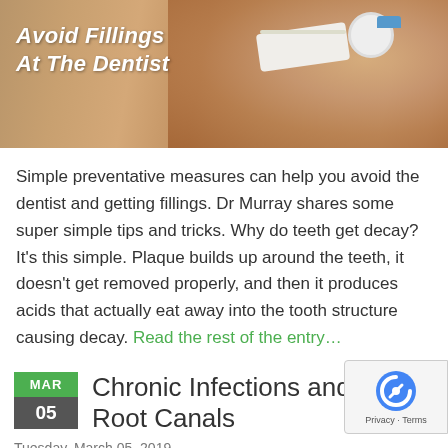[Figure (photo): Hero image showing a man brushing his teeth with a toothbrush, with text overlay reading 'Avoid Fillings At The Dentist' in italic white bold font on the left side of the image.]
Simple preventative measures can help you avoid the dentist and getting fillings. Dr Murray shares some super simple tips and tricks. Why do teeth get decay? It's this simple. Plaque builds up around the teeth, it doesn't get removed properly, and then it produces acids that actually eat away into the tooth structure causing decay. Read the rest of the entry…
Chronic Infections and Failed Root Canals
Tuesday, March 05, 2019